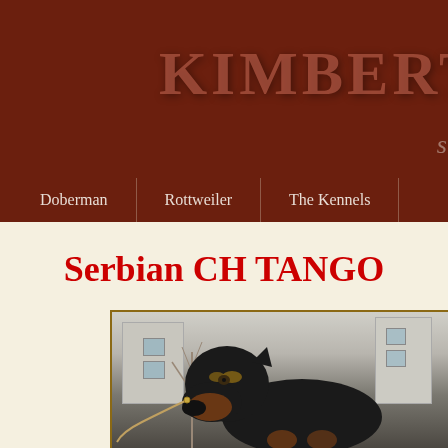KIMBERT
si
Doberman | Rottweiler | The Kennels
Serbian CH TANGO
[Figure (photo): A Rottweiler dog on a chain leash photographed outdoors with buildings and bare trees in the background]